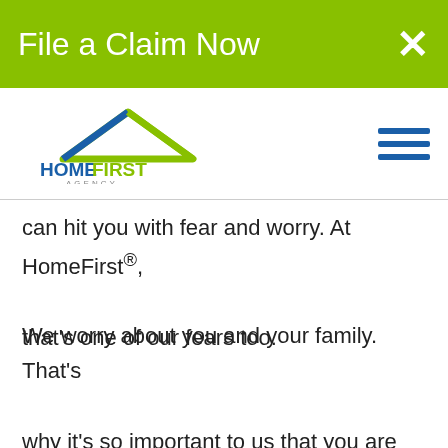File a Claim Now
[Figure (logo): HomeFirst Agency logo with house roof graphic in blue and green]
can hit you with fear and worry. At HomeFirst®, that's one of our fears too.
We worry about you and your family. That's why it's so important to us that you are prepared and have a family fire escape plan. If you don't have a family escape plan for a fire,